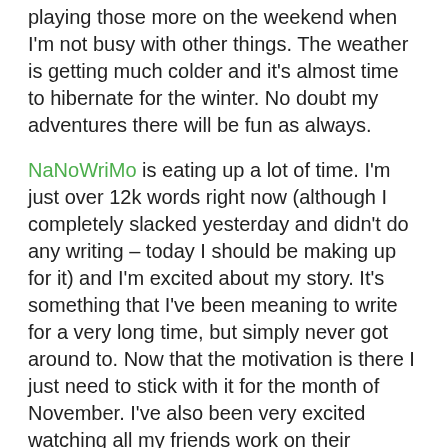playing those more on the weekend when I'm not busy with other things. The weather is getting much colder and it's almost time to hibernate for the winter. No doubt my adventures there will be fun as always.
NaNoWriMo is eating up a lot of time. I'm just over 12k words right now (although I completely slacked yesterday and didn't do any writing – today I should be making up for it) and I'm excited about my story. It's something that I've been meaning to write for a very long time, but simply never got around to. Now that the motivation is there I just need to stick with it for the month of November. I've also been very excited watching all my friends work on their stories, and the inspiration and motivation that bounces off of one another is fantastic.
There are five games that are on my